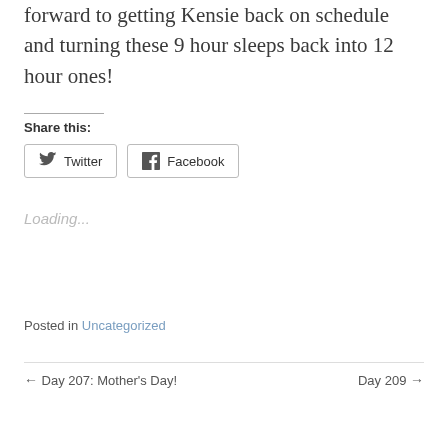forward to getting Kensie back on schedule and turning these 9 hour sleeps back into 12 hour ones!
Share this:
[Figure (other): Twitter and Facebook share buttons]
Loading...
Posted in Uncategorized
← Day 207: Mother's Day!    Day 209 →